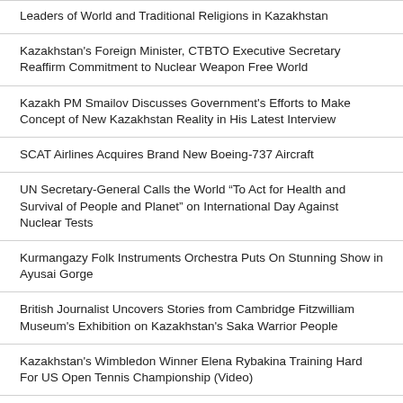Leaders of World and Traditional Religions in Kazakhstan
Kazakhstan's Foreign Minister, CTBTO Executive Secretary Reaffirm Commitment to Nuclear Weapon Free World
Kazakh PM Smailov Discusses Government's Efforts to Make Concept of New Kazakhstan Reality in His Latest Interview
SCAT Airlines Acquires Brand New Boeing-737 Aircraft
UN Secretary-General Calls the World “To Act for Health and Survival of People and Planet” on International Day Against Nuclear Tests
Kurmangazy Folk Instruments Orchestra Puts On Stunning Show in Ayusai Gorge
British Journalist Uncovers Stories from Cambridge Fitzwilliam Museum's Exhibition on Kazakhstan's Saka Warrior People
Kazakhstan's Wimbledon Winner Elena Rybakina Training Hard For US Open Tennis Championship (Video)
Kazakhstan's Charyn Canyon Becomes New Tourist Hotspot Following Renovations